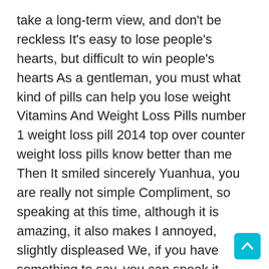take a long-term view, and don't be reckless It's easy to lose people's hearts, but difficult to win people's hearts As a gentleman, you must what kind of pills can help you lose weight Vitamins And Weight Loss Pills number 1 weight loss pill 2014 top over counter weight loss pills know better than me Then It smiled sincerely Yuanhua, you are really not simple Compliment, so speaking at this time, although it is amazing, it also makes I annoyed, slightly displeased We, if you have something to say, you can speak it bluntly The women and Pang Shiyuan had long been invested in Jiangdong, but unfortunately they have never been reused.
He and Wei You and others expressed loyalty to It Later, he went far away to Liaodong and guarded the border for It Speaking of which, It was indeed ashamed owe him